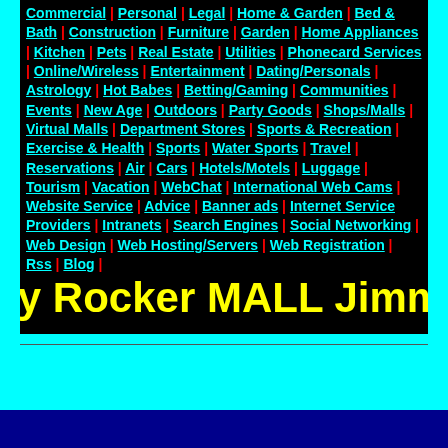Commercial | Personal | Legal | Home & Garden | Bed & Bath | Construction | Furniture | Garden | Home Appliances | Kitchen | Pets | Real Estate | Utilities | Phonecard Services | Online/Wireless | Entertainment | Dating/Personals | Astrology | Hot Babes | Betting/Gaming | Communities | Events | New Age | Outdoors | Party Goods | Shops/Malls | Virtual Malls | Department Stores | Sports & Recreation | Exercise & Health | Sports | Water Sports | Travel | Reservations | Air | Cars | Hotels/Motels | Luggage | Tourism | Vacation | WebChat | International Web Cams | Website Service | Advice | Banner ads | Internet Service Providers | Intranets | Search Engines | Social Networking | Web Design | Web Hosting/Servers | Web Registration | Rss | Blog |
my Rocker MALL Jimmy